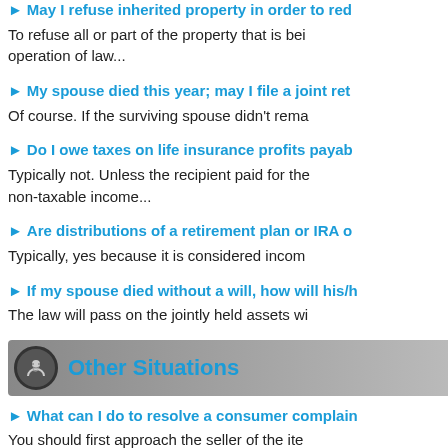► May I refuse inherited property in order to red...
To refuse all or part of the property that is bei... operation of law...
► My spouse died this year; may I file a joint ret...
Of course. If the surviving spouse didn't rema...
► Do I owe taxes on life insurance profits payab...
Typically not. Unless the recipient paid for the... non-taxable income...
► Are distributions of a retirement plan or IRA o...
Typically, yes because it is considered incom...
► If my spouse died without a will, how will his/h...
The law will pass on the jointly held assets wi...
Other Situations
► What can I do to resolve a consumer complain...
You should first approach the seller of the ite... agency. If neither of the previous provides ad... arbitration...